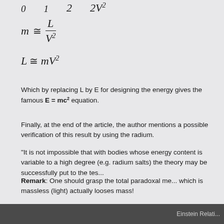Which by replacing L by E for designing the energy gives the famous E = mc² equation.
Finally, at the end of the article, the author mentions a possible verification of this result by using the radium.
"It is not impossible that with bodies whose energy content is variable to a high degree (e.g. radium salts) the theory may be successfully put to the test."
Remark: One should grasp the total paradoxal meaning of this result: a body which is massless (light) actually looses mass!
[1] "Ist die Trägheit eines Körpers von seinem Ene...
Einstein Relati...